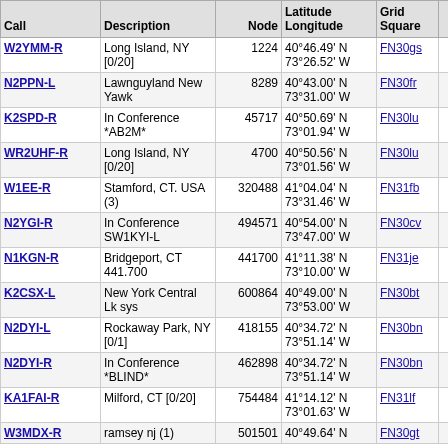| Call | Description | Node | Latitude Longitude | Grid Square | Dist (mi) | Freq (Mhz) |
| --- | --- | --- | --- | --- | --- | --- |
| W2YMM-R | Long Island, NY [0/20] | 1224 | 40°46.49' N 73°26.52' W | FN30gs | 7.9 | 449.300 |
| N2PPN-L | Lawnguyland New Yawk | 8289 | 40°43.00' N 73°31.00' W | FN30fr | 12.4 | 223.860 |
| K2SPD-R | In Conference *AB2M* | 45717 | 40°50.69' N 73°01.94' W | FN30lu | 14.5 | 145.310 |
| WR2UHF-R | Long Island, NY [0/20] | 4700 | 40°50.56' N 73°01.56' W | FN30lu | 14.8 |  |
| W1EE-R | Stamford, CT. USA (3) | 320488 | 41°04.04' N 73°31.46' W | FN31fb | 23.8 | 146.655 |
| N2YGI-R | In Conference SW1KYI-L | 494571 | 40°54.00' N 73°47.00' W | FN30cv | 27.2 | 145.085 |
| N1KGN-R | Bridgeport, CT 441.700 | 441700 | 41°11.38' N 73°10.00' W | FN31je | 29.7 | 441.700 |
| K2CSX-L | New York Central Lk sys | 600864 | 40°49.00' N 73°53.00' W | FN30bt | 31.1 |  |
| N2DYI-L | Rockaway Park, NY [0/1] | 418155 | 40°34.72' N 73°51.14' W | FN30bn | 32.3 |  |
| N2DYI-R | In Conference *BLIND* | 462898 | 40°34.72' N 73°51.14' W | FN30bn | 32.3 |  |
| KA1FAI-R | Milford, CT [0/20] | 754484 | 41°14.12' N 73°01.63' W | FN31lf | 35.0 |  |
| W3MDX-R | ramsey nj (1) | 501501 | 40°49.64' N | FN30gt | 36.3 | 145.450 |